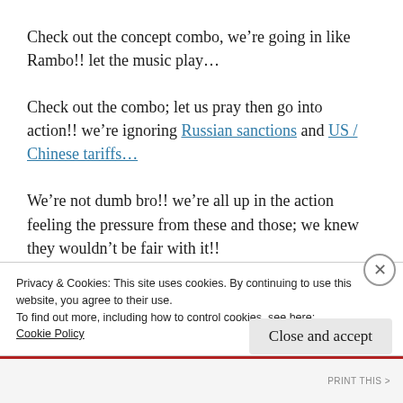Check out the concept combo, we're going in like Rambo!! let the music play...
Check out the combo; let us pray then go into action!! we're ignoring Russian sanctions and US / Chinese tariffs...
We're not dumb bro!! we're all up in the action feeling the pressure from these and those; we knew they wouldn't be fair with it!!
Privacy & Cookies: This site uses cookies. By continuing to use this website, you agree to their use.
To find out more, including how to control cookies, see here:
Cookie Policy
Close and accept